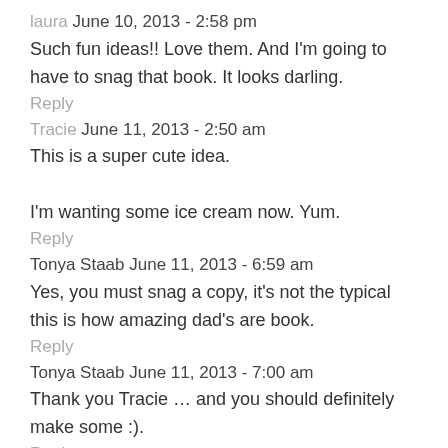laura June 10, 2013 - 2:58 pm
Such fun ideas!! Love them. And I'm going to have to snag that book. It looks darling.
Reply
Tracie June 11, 2013 - 2:50 am
This is a super cute idea.

I'm wanting some ice cream now. Yum.
Reply
Tonya Staab June 11, 2013 - 6:59 am
Yes, you must snag a copy, it's not the typical this is how amazing dad's are book.
Reply
Tonya Staab June 11, 2013 - 7:00 am
Thank you Tracie … and you should definitely make some :).
Reply
Tonya Staab June 11, 2013 - 7:00 am
Thank you Elena
Reply